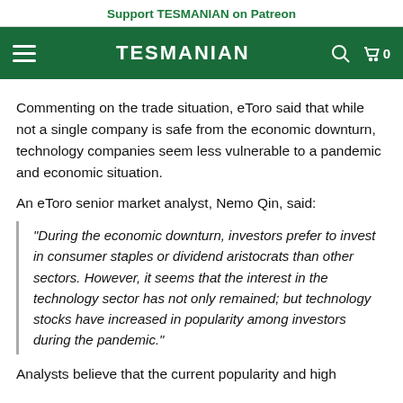Support TESMANIAN on Patreon
TESMANIAN
Commenting on the trade situation, eToro said that while not a single company is safe from the economic downturn, technology companies seem less vulnerable to a pandemic and economic situation.
An eToro senior market analyst, Nemo Qin, said:
"During the economic downturn, investors prefer to invest in consumer staples or dividend aristocrats than other sectors. However, it seems that the interest in the technology sector has not only remained; but technology stocks have increased in popularity among investors during the pandemic."
Analysts believe that the current popularity and high